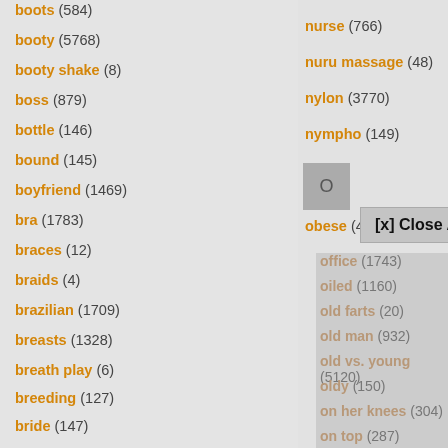boots (584)
booty (5768)
booty shake (8)
boss (879)
bottle (146)
bound (145)
boyfriend (1469)
bra (1783)
braces (12)
braids (4)
brazilian (1709)
breasts (1328)
breath play (6)
breeding (127)
bride (147)
british (6932)
brunette (33293)
bukkake (971)
bulgarian (257)
nurse (766)
nuru massage (48)
nylon (3770)
nympho (149)
obese (43)
office (1743)
oiled (1160)
old farts (20)
old man (932)
old vs. young (5120)
oldy (150)
on her knees (304)
on top (287)
open pussy (78)
oral (2558)
orgasm (14514)
[x] Close Ad